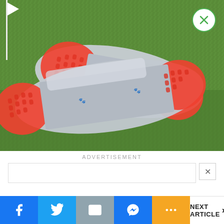[Figure (photo): Two Puma golf shoes shown from the bottom/sole view, lying on green grass next to a golf putting flag. The soles are primarily gray/silver with bright red-orange accent areas and the Puma logo visible on each shoe.]
ADVERTISEMENT
[Figure (other): White advertisement banner area with close (X) button]
NEXT ARTICLE >